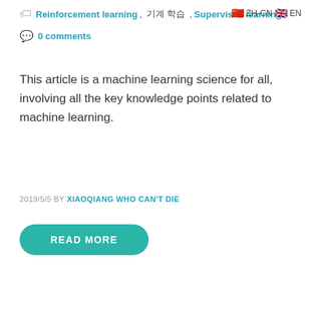Reinforcement learning, 기계 학습, Supervised learning
0 comments
This article is a machine learning science for all, involving all the key knowledge points related to machine learning.
2019/5/5 BY XIAOQIANG WHO CAN'T DIE
READ MORE